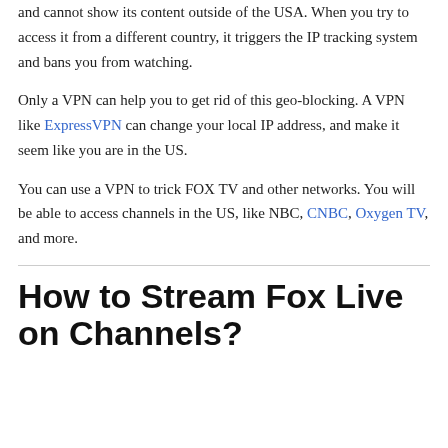and cannot show its content outside of the USA. When you try to access it from a different country, it triggers the IP tracking system and bans you from watching.
Only a VPN can help you to get rid of this geo-blocking. A VPN like ExpressVPN can change your local IP address, and make it seem like you are in the US.
You can use a VPN to trick FOX TV and other networks. You will be able to access channels in the US, like NBC, CNBC, Oxygen TV, and more.
How to Stream Fox Live on Channels?